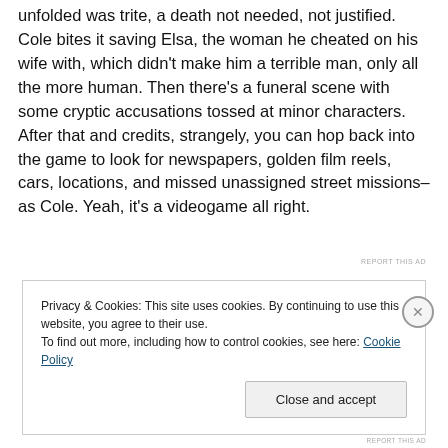unfolded was trite, a death not needed, not justified. Cole bites it saving Elsa, the woman he cheated on his wife with, which didn't make him a terrible man, only all the more human. Then there's a funeral scene with some cryptic accusations tossed at minor characters. After that and credits, strangely, you can hop back into the game to look for newspapers, golden film reels, cars, locations, and missed unassigned street missions–as Cole. Yeah, it's a videogame all right.
REPORT THIS AD
Privacy & Cookies: This site uses cookies. By continuing to use this website, you agree to their use.
To find out more, including how to control cookies, see here: Cookie Policy
Close and accept